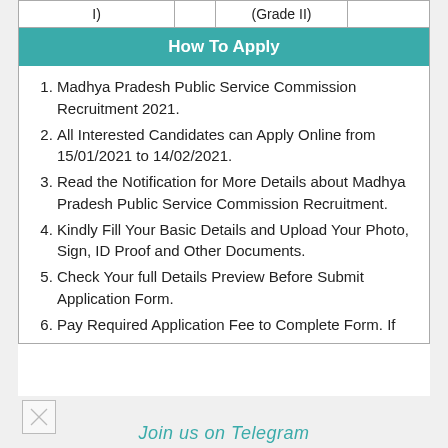| I) |  | (Grade II) |  |
| --- | --- | --- | --- |
| I) |  | (Grade II) |  |
How To Apply
Madhya Pradesh Public Service Commission Recruitment 2021.
All Interested Candidates can Apply Online from 15/01/2021 to 14/02/2021.
Read the Notification for More Details about Madhya Pradesh Public Service Commission Recruitment.
Kindly Fill Your Basic Details and Upload Your Photo, Sign, ID Proof and Other Documents.
Check Your full Details Preview Before Submit Application Form.
Pay Required Application Fee to Complete Form. If
Join us on Telegram